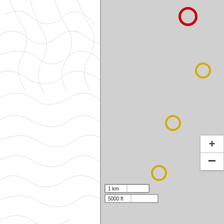[Figure (map): Interactive map showing mountain peaks with red and gold circle markers on a gray basemap (CalTopo). A red circle marker is near top center, three gold circle markers are distributed in center-right area. Scale bar shows 1 km / 5000 ft. Plus and minus zoom controls visible. Left side shows topographic contour lines background.]
Click Here for a Full Screen Map
Copyright © 1987-2022 by Peakbagger.com. All Rights Reserved.
Questions/Comments/Corrections? See the Contact Page
Terms of Service